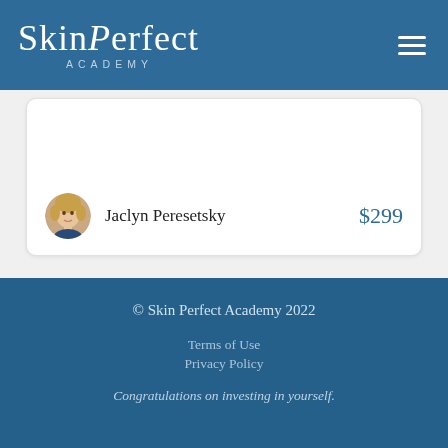SkinPerfect ACADEMY
[Figure (photo): Circular avatar photo of Jaclyn Peresetsky, a woman with blonde hair]
Jaclyn Peresetsky   $299
© Skin Perfect Academy 2022
Terms of Use
Privacy Policy
Congratulations on investing in yourself.